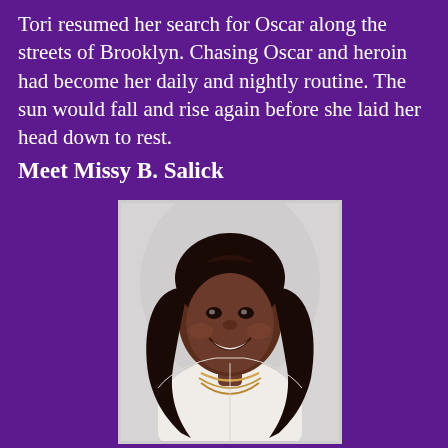Tori resumed her search for Oscar along the streets of Brooklyn. Chasing Oscar and heroin had become her daily and nightly routine. The sun would fall and rise again before she laid her head down to rest.
Meet Missy B. Salick
[Figure (photo): Portrait photo of a smiling woman with long dark wavy hair, wearing a white top with a beaded necklace, photographed against a light gray background.]